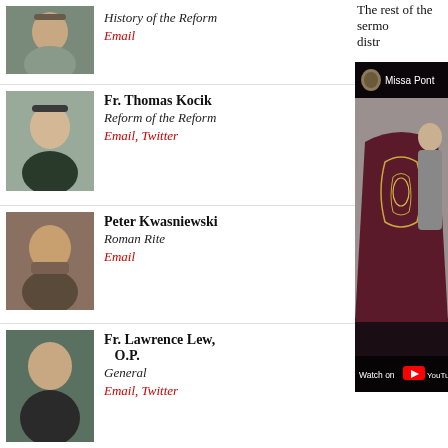History of the Reform
Email
The rest of the sermo
distr
Fr. Thomas Kocik
Reform of the Reform
Email, Twitter
Peter Kwasniewski
Roman Rite
Email
Fr. Lawrence Lew, O.P.
General
Email, Twitter
Fr. Robert C. Pasley, KCHS
Parish Priest, Chaplain, CMAA
Email
William Riccio
Roman Rite
Email
[Figure (screenshot): Video thumbnail showing a priest in dark purple vestments with gold embroidery, in front of a stone background. Overlay shows 'Missa Pont...' title with a shield logo at top. Bottom bar reads 'Watch on YouTube'.]